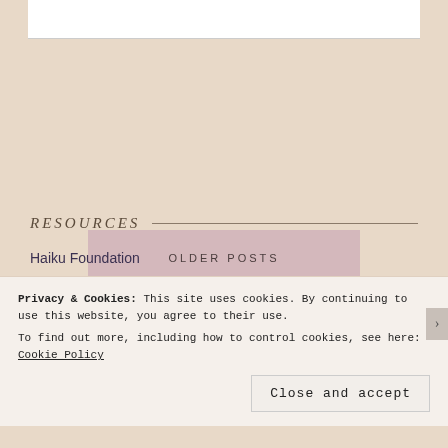OLDER POSTS
RESOURCES
Haiku Foundation
Graceguts
Aha Poetry
Privacy & Cookies: This site uses cookies. By continuing to use this website, you agree to their use. To find out more, including how to control cookies, see here: Cookie Policy
Close and accept